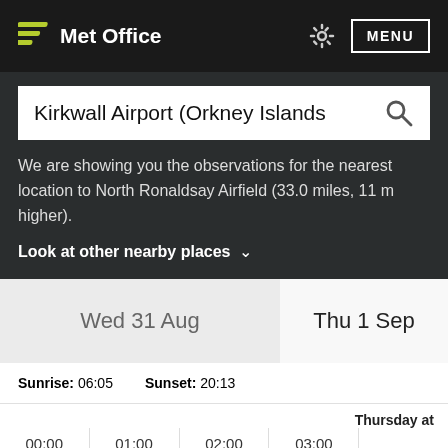Met Office — MENU
Kirkwall Airport (Orkney Islands
We are showing you the observations for the nearest location to North Ronaldsay Airfield (33.0 miles, 11 m higher).
Look at other nearby places ∨
Wed 31 Aug     Thu 1 Sep
Sunrise: 06:05     Sunset: 20:13
| Thursday at | 00:00 | 01:00 | 02:00 | 03:00 |  |
| --- | --- | --- | --- | --- | --- |